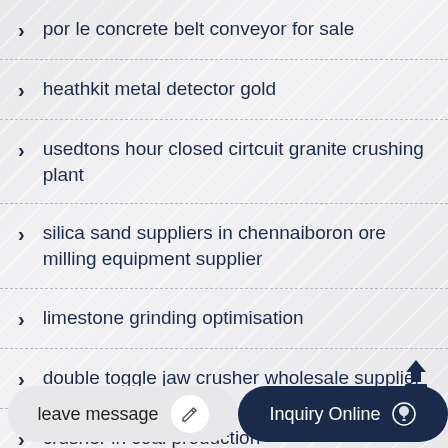por le concrete belt conveyor for sale
heathkit metal detector gold
usedtons hour closed cirtcuit granite crushing plant
silica sand suppliers in chennaiboron ore milling equipment supplier
limestone grinding optimisation
double toggle jaw crusher wholesale supplier
crusher in coal production
leave message
Inquiry Online